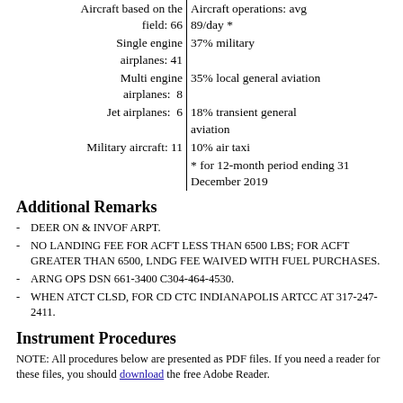| Aircraft based on the field | Aircraft operations |
| --- | --- |
| Aircraft based on the field: 66 | Aircraft operations: avg 89/day * |
| Single engine airplanes: 41 | 37% military |
| Multi engine airplanes: 8 | 35% local general aviation |
| Jet airplanes: 6 | 18% transient general aviation |
| Military aircraft: 11 | 10% air taxi |
|  | * for 12-month period ending 31 December 2019 |
Additional Remarks
DEER ON & INVOF ARPT.
NO LANDING FEE FOR ACFT LESS THAN 6500 LBS; FOR ACFT GREATER THAN 6500, LNDG FEE WAIVED WITH FUEL PURCHASES.
ARNG OPS DSN 661-3400 C304-464-4530.
WHEN ATCT CLSD, FOR CD CTC INDIANAPOLIS ARTCC AT 317-247-2411.
Instrument Procedures
NOTE: All procedures below are presented as PDF files. If you need a reader for these files, you should download the free Adobe Reader.